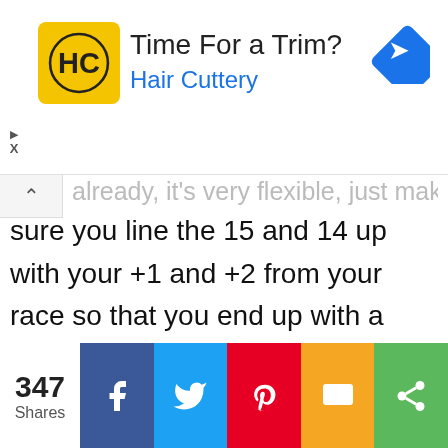[Figure (advertisement): Hair Cuttery ad banner with logo, title 'Time For a Trim?', subtitle 'Hair Cuttery', and a blue navigation arrow icon]
already, it's very flexible, just make sure you line the 15 and 14 up with your +1 and +2 from your race so that you end up with a pair of 16s and their +3 modifiers.
--
347 Shares | Facebook | Twitter | Pinterest | SMS | Share